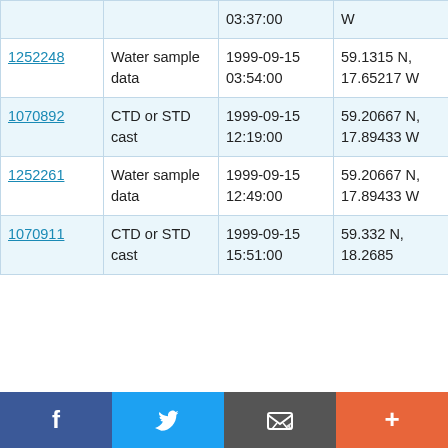| ID | Type | Date/Time | Position | Cruise |
| --- | --- | --- | --- | --- |
|  |  | 03:37:00 | W | D242 |
| 1252248 | Water sample data | 1999-09-15 03:54:00 | 59.1315 N, 17.65217 W | RRS Discovery D242 |
| 1070892 | CTD or STD cast | 1999-09-15 12:19:00 | 59.20667 N, 17.89433 W | RRS Discovery D242 |
| 1252261 | Water sample data | 1999-09-15 12:49:00 | 59.20667 N, 17.89433 W | RRS Discovery D242 |
| 1070911 | CTD or STD cast | 1999-09-15 15:51:00 | 59.332 N, 18.2685 | RRS Discovery |
Facebook  Twitter  Email  +